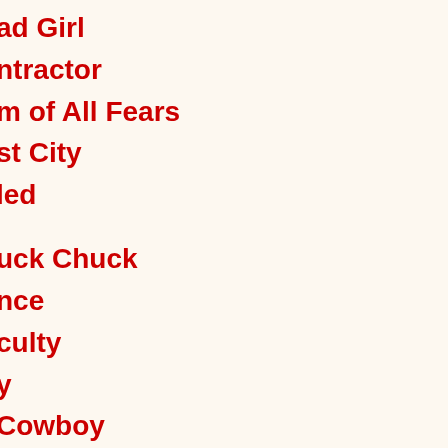ad Girl
ntractor
m of All Fears
st City
led
uck Chuck
nce
culty
y
Cowboy
rthman
s